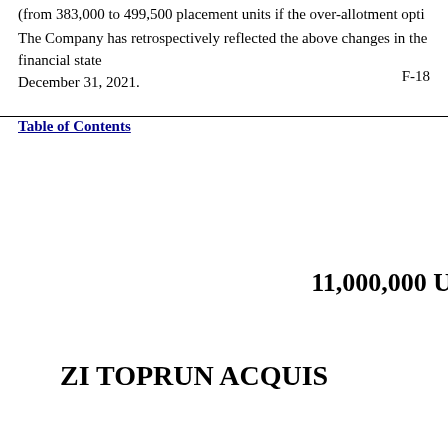(from 383,000 to 499,500 placement units if the over-allotment option is fully exercised)
The Company has retrospectively reflected the above changes in the financial state December 31, 2021.
F-18
Table of Contents
11,000,000 U
ZI TOPRUN ACQUIS